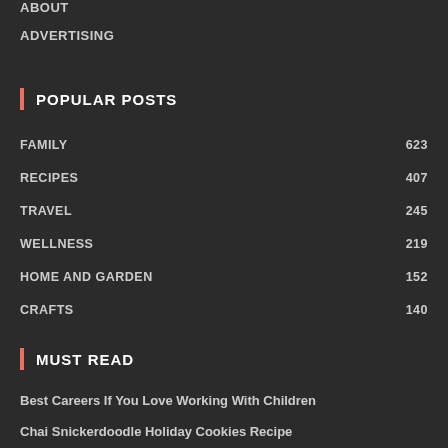ABOUT
ADVERTISING
POPULAR POSTS
FAMILY 623
RECIPES 407
TRAVEL 245
WELLNESS 219
HOME AND GARDEN 152
CRAFTS 140
MUST READ
Best Careers If You Love Working With Children
Chai Snickerdoodle Holiday Cookies Recipe